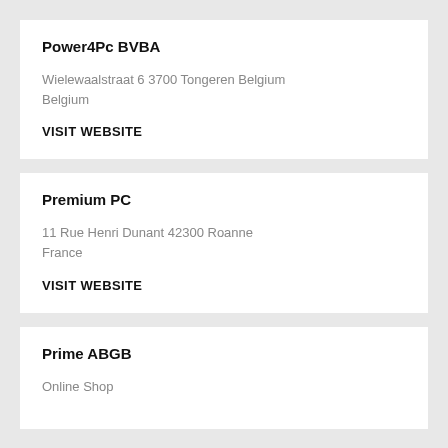Power4Pc BVBA
Wielewaalstraat 6 3700 Tongeren Belgium
Belgium
VISIT WEBSITE
Premium PC
11 Rue Henri Dunant 42300 Roanne
France
VISIT WEBSITE
Prime ABGB
Online Shop